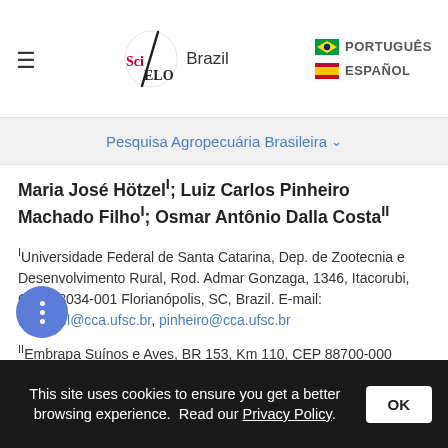SciELO Brazil | PORTUGUÊS | ESPAÑOL
Pesquisa Agropecuária Brasileira
Maria José Hötzel¹; Luiz Carlos Pinheiro Machado Filho¹; Osmar Antônio Dalla Costa²
¹Universidade Federal de Santa Catarina, Dep. de Zootecnia e Desenvolvimento Rural, Rod. Admar Gonzaga, 1346, Itacorubi, CEP 88034-001 Florianópolis, SC, Brazil. E-mail: mjhotzel@cca.ufsc.br, pinheiro@cca.ufsc.br
²Embrapa Suínos e Aves, BR 153, Km 110, CEP 88700-000 Concórdia, SC, Brazil. E-mail: osmar@cnpsa.embrapa.br
This site uses cookies to ensure you get a better browsing experience. Read our Privacy Policy.